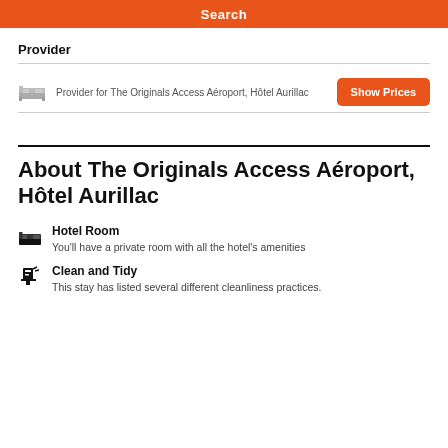[Figure (screenshot): Orange search button bar at top]
Provider
Provider for The Originals Access Aéroport, Hôtel Aurillac
Show Prices
About The Originals Access Aéroport, Hôtel Aurillac
Hotel Room — You'll have a private room with all the hotel's amenities
Clean and Tidy — This stay has listed several different cleanliness practices.